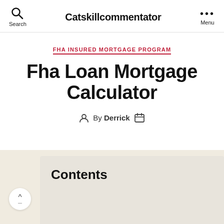Catskillcommentator
FHA INSURED MORTGAGE PROGRAM
Fha Loan Mortgage Calculator
By Derrick
Contents